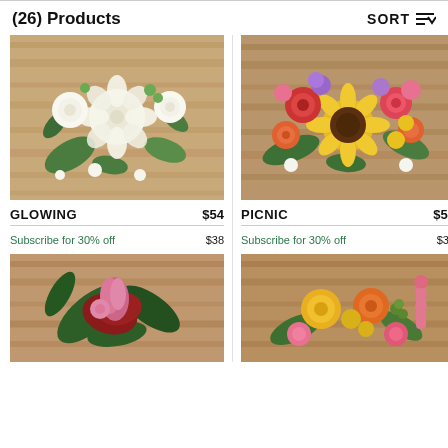(26) Products
SORT
[Figure (photo): White flower bouquet with roses and green leaves on wooden background - GLOWING]
GLOWING   $54
Subscribe for 30% off   $38
[Figure (photo): Colorful bouquet with sunflowers, roses, and mixed flowers on wooden background - PICNIC]
PICNIC   $54
Subscribe for 30% off   $38
[Figure (photo): Tropical bouquet with pink and red flowers and large leaves on wooden background]
[Figure (photo): Bright mixed bouquet with yellow, orange, and pink flowers on wooden background]